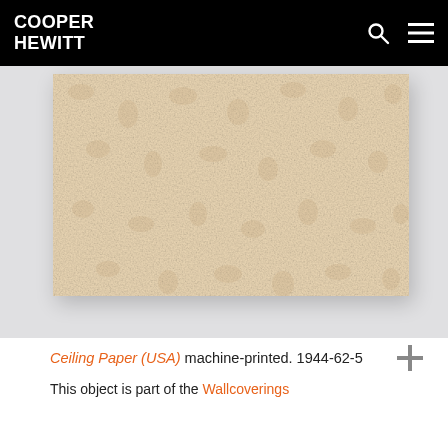COOPER HEWITT
[Figure (photo): Photograph of a cream/beige ceiling paper swatch with subtle all-over organic texture pattern, machine-printed, displayed against a light gray background.]
Ceiling Paper (USA) machine-printed. 1944-62-5
This object is part of the Wallcoverings